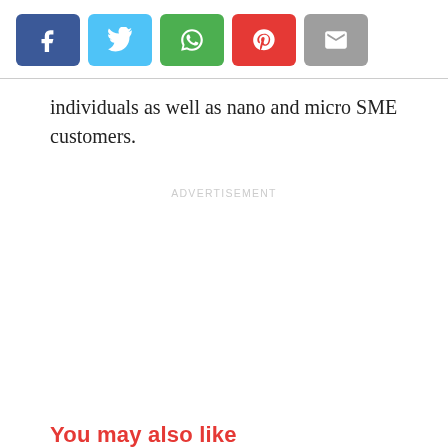[Figure (other): Social sharing buttons: Facebook (blue), Twitter (light blue), WhatsApp (green), Pinterest (red), Email (grey)]
individuals as well as nano and micro SME customers.
ADVERTISEMENT
You may also like